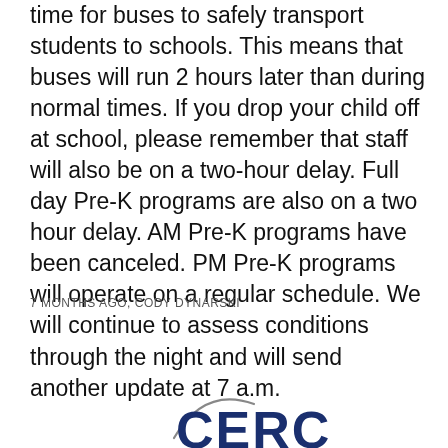time for buses to safely transport students to schools. This means that buses will run 2 hours later than during normal times. If you drop your child off at school, please remember that staff will also be on a two-hour delay. Full day Pre-K programs are also on a two hour delay. AM Pre-K programs have been canceled. PM Pre-K programs will operate on a regular schedule. We will continue to assess conditions through the night and will send another update at 7 a.m.
7 MONTHS AGO, CODY DYNARSKI
[Figure (logo): CERC logo partial — curved swoosh and bold letters CERC partially visible at bottom of page]